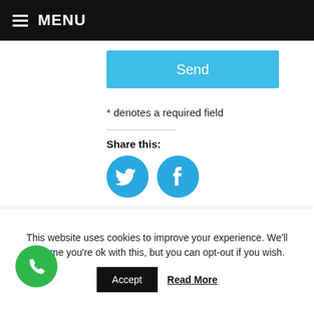MENU
Send
* denotes a required field
Share this:
[Figure (illustration): Twitter and Facebook circular social sharing icon buttons in blue]
Like this:
Loading...
[Figure (illustration): Partial reCAPTCHA widget showing blue reCAPTCHA logo]
This website uses cookies to improve your experience. We'll assume you're ok with this, but you can opt-out if you wish.
Accept
Read More
[Figure (illustration): Green circular phone/call button icon]